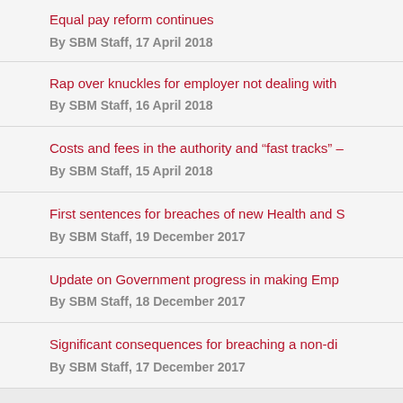Equal pay reform continues
By SBM Staff, 17 April 2018
Rap over knuckles for employer not dealing with…
By SBM Staff, 16 April 2018
Costs and fees in the authority and "fast tracks" –…
By SBM Staff, 15 April 2018
First sentences for breaches of new Health and S…
By SBM Staff, 19 December 2017
Update on Government progress in making Emp…
By SBM Staff, 18 December 2017
Significant consequences for breaching a non-di…
By SBM Staff, 17 December 2017